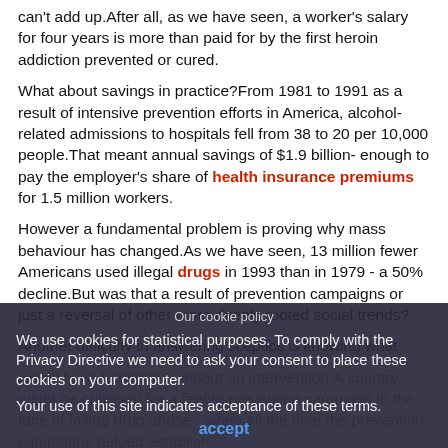can't add up.After all, as we have seen, a worker's salary for four years is more than paid for by the first heroin addiction prevented or cured.
What about savings in practice?From 1981 to 1991 as a result of intensive prevention efforts in America, alcohol-related admissions to hospitals fell from 38 to 20 per 10,000 people.That meant annual savings of $1.9 billion- enough to pay the employer's share of health insurance premiums for 1.5 million workers.
However a fundamental problem is proving why mass behaviour has changed.As we have seen, 13 million fewer Americans used illegal drugs in 1993 than in 1979 - a 50% decline.But was that a result of prevention campaigns or just a reversal of other more deeply rooted social trends?
Another difficulty in answering sceptics is knowing what would have happened without an intervention.A country might be criticised for a feeble prevention campaign in the face of falling drug abuse - when all the time the prevention campaigns helped establish.
US...
In addition to crop destruction and interception of illegal drugs, the US government has prohibited drug use...
Our cookie policy
We use cookies for statistical purposes. To comply with the Privacy Directive we need to ask your consent to place these cookies on your computer.
Your use of this site indicates acceptance of these terms.
accept